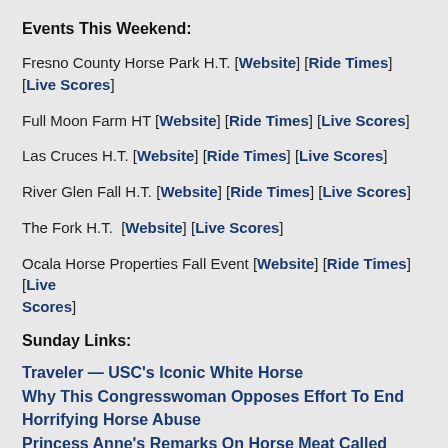Events This Weekend:
Fresno County Horse Park H.T. [Website] [Ride Times] [Live Scores]
Full Moon Farm HT [Website] [Ride Times] [Live Scores]
Las Cruces H.T. [Website] [Ride Times] [Live Scores]
River Glen Fall H.T. [Website] [Ride Times] [Live Scores]
The Fork H.T.  [Website] [Live Scores]
Ocala Horse Properties Fall Event [Website] [Ride Times] [Live Scores]
Sunday Links:
Traveler — USC's Iconic White Horse
Why This Congresswoman Opposes Effort To End Horrifying Horse Abuse
Princess Anne's Remarks On Horse Meat Called Brave By World